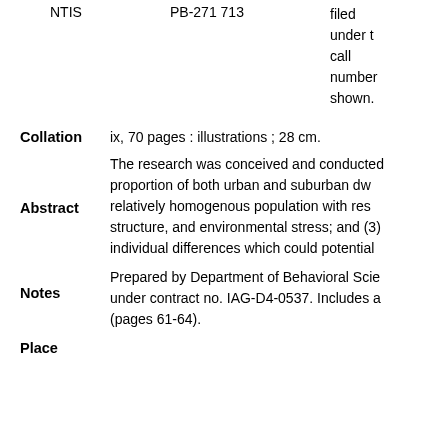NTIS   PB-271 713   filed under t call number shown.
Collation   ix, 70 pages : illustrations ; 28 cm.
Abstract   The research was conceived and conducted proportion of both urban and suburban dw relatively homogenous population with res structure, and environmental stress; and (3 individual differences which could potential
Notes   Prepared by Department of Behavioral Scie under contract no. IAG-D4-0537. Includes a (pages 61-64).
Place